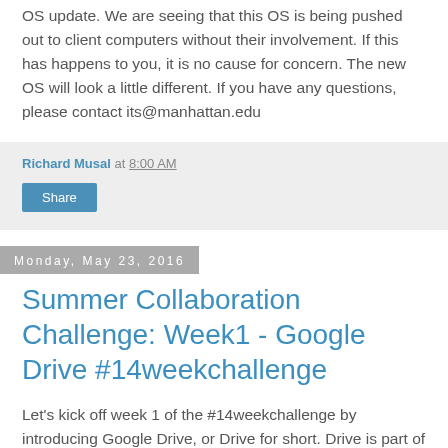OS update.  We are seeing that this OS is being pushed out to client computers without their involvement.  If this has happens to you, it is no cause for concern.  The new OS will look a little different.  If you have any questions, please contact its@manhattan.edu
Richard Musal at 8:00 AM
Share
Monday, May 23, 2016
Summer Collaboration Challenge: Week1 - Google Drive #14weekchallenge
Let's kick off week 1 of the #14weekchallenge by introducing Google Drive, or Drive for short.  Drive is part of your JasperNet account that provides virtually unlimited online storage space.  We'll explore various parts Drive as a foundation for future weeks.